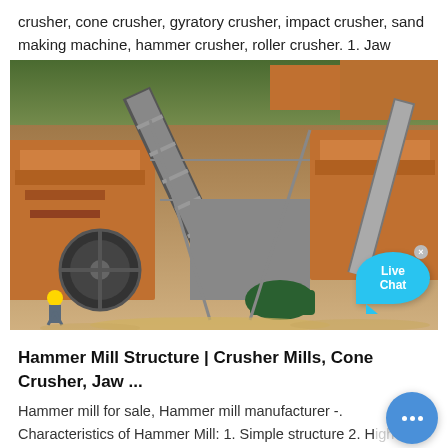crusher, cone crusher, gyratory crusher, impact crusher, sand making machine, hammer crusher, roller crusher. 1. Jaw Crusher. The machine...
[Figure (photo): Aerial view of industrial crushing and screening plant with orange-painted machinery, conveyor belts, and a worker in yellow hard hat at a construction or mining site. A 'Live Chat' bubble overlay appears in the upper right of the image.]
Hammer Mill Structure | Crusher Mills, Cone Crusher, Jaw ...
Hammer mill for sale, Hammer mill manufacturer -. Characteristics of Hammer Mill: 1. Simple structure 2. High crushing ratio 3. High efficiency 4. Suitable for dry and wet crushing. Hammer Mill working principle: